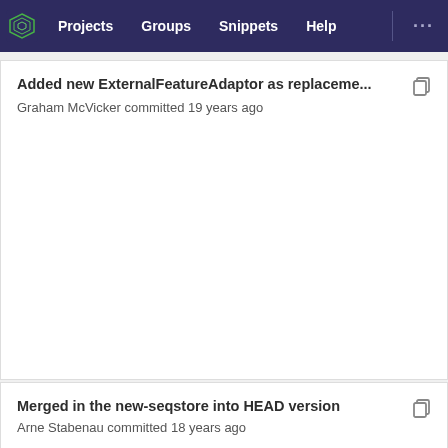Projects  Groups  Snippets  Help
Added new ExternalFeatureAdaptor as replaceme...
Graham McVicker committed 19 years ago
Merged in the new-seqstore into HEAD version
Arne Stabenau committed 18 years ago
Added new ExternalFeatureAdaptor as replaceme...
Graham McVicker committed 19 years ago